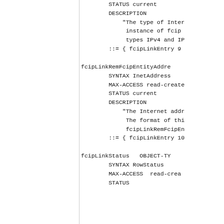STATUS current
        DESCRIPTION
            "The type of Inter
             instance of fcip
             types IPv4 and IP
        ::= { fcipLinkEntry 9
fcipLinkRemFcipEntityAddre
        SYNTAX InetAddress
        MAX-ACCESS read-create
        STATUS current
        DESCRIPTION
            "The Internet addr
             The format of thi
             fcipLinkRemFcipEn
        ::= { fcipLinkEntry 10
fcipLinkStatus   OBJECT-TY
        SYNTAX RowStatus
        MAX-ACCESS  read-crea
        STATUS